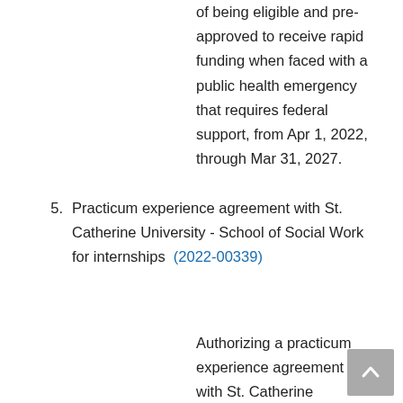of being eligible and pre-approved to receive rapid funding when faced with a public health emergency that requires federal support, from Apr 1, 2022, through Mar 31, 2027.
5. Practicum experience agreement with St. Catherine University - School of Social Work for internships (2022-00339)
Authorizing a practicum experience agreement with St. Catherine University - St. Thomas University School of Social Work for their